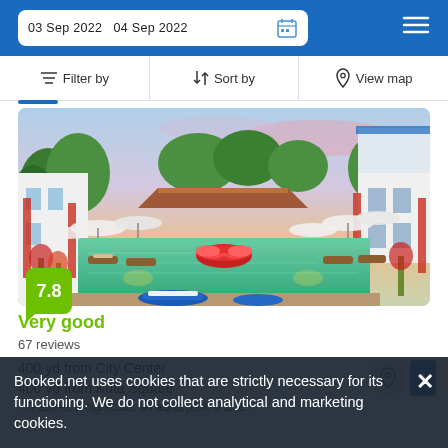03 Sep 2022  04 Sep 2022
Filter by  Sort by  View map
[Figure (photo): Hotel outdoor pool with lounge chairs, umbrellas, lush greenery, and a decorative fountain under a colorful sky]
7.8
Very good
67 reviews
400 yd from City Center
400 yd from Kuta Square
Booked.net uses cookies that are strictly necessary for its functioning. We do not collect analytical and marketing cookies.